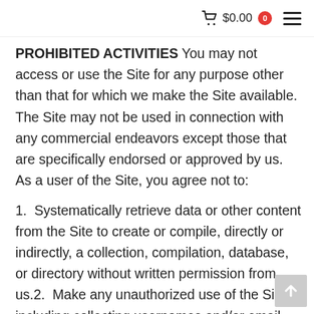🛒 $0.00  0  ≡
PROHIBITED ACTIVITIES You may not access or use the Site for any purpose other than that for which we make the Site available. The Site may not be used in connection with any commercial endeavors except those that are specifically endorsed or approved by us. As a user of the Site, you agree not to:
1.  Systematically retrieve data or other content from the Site to create or compile, directly or indirectly, a collection, compilation, database, or directory without written permission from us.2.  Make any unauthorized use of the Site, including collecting usernames and/or email addresses of users by electronic or other means for the purpose of sending unsolicited email, or creating user accounts by automated means or under false